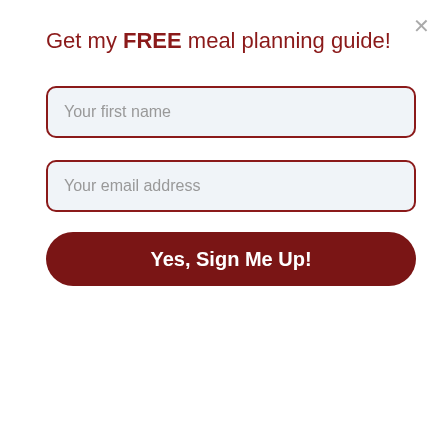Get my FREE meal planning guide!
Your first name
Your email address
Yes, Sign Me Up!
Mousse
By Life Tastes Good
Published 05/12/2014
[Figure (photo): A white bowl of chocolate mousse topped with a fresh strawberry, with blueberries and strawberries in the background]